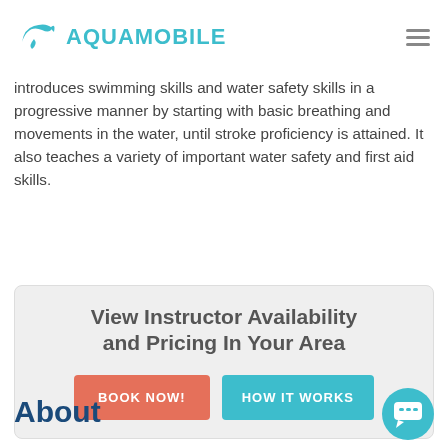AQUAMOBILE
introduces swimming skills and water safety skills in a progressive manner by starting with basic breathing and movements in the water, until stroke proficiency is attained. It also teaches a variety of important water safety and first aid skills.
View Instructor Availability and Pricing In Your Area
BOOK NOW! | HOW IT WORKS
About